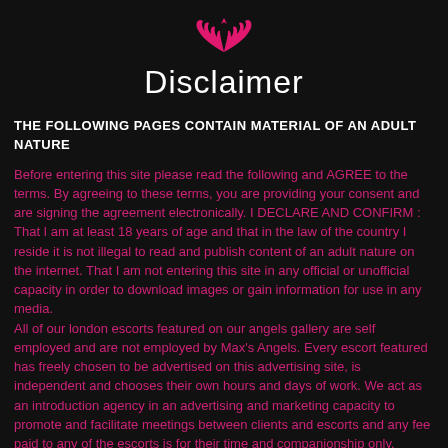[Figure (logo): Pink winged angel logo / wings icon]
Disclaimer
THE FOLLOWING PAGES CONTAIN MATERIAL OF AN ADULT NATURE
Before entering this site please read the following and AGREE to the terms. By agreeing to these terms, you are providing your consent and are signing the agreement electronically. I DECLARE AND CONFIRM : That I am at least 18 years of age and that in the law of the country I reside it is not illegal to read and publish content of an adult nature on the internet. That I am not entering this site in any official or unofficial capacity in order to download images or gain information for use in any media.
All of our london escorts featured on our angels gallery are self employed and are not employed by Max's Angels. Every escort featured has freely chosen to be advertised on this advertising site, is independent and chooses their own hours and days of work. We act as an introduction agency in an advertising and marketing capacity to promote and facilitate meetings between clients and escorts and any fee paid to any of the escorts is for their time and companionship only. Should anything else occur it is on the strict